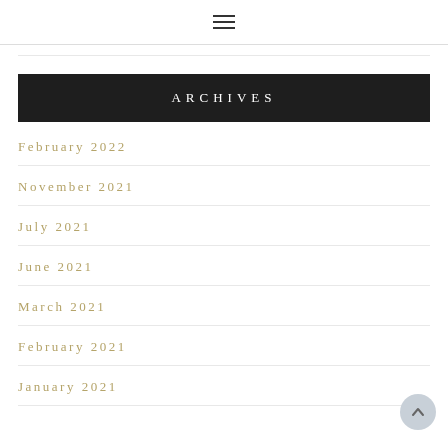☰ (hamburger menu icon)
ARCHIVES
February 2022
November 2021
July 2021
June 2021
March 2021
February 2021
January 2021